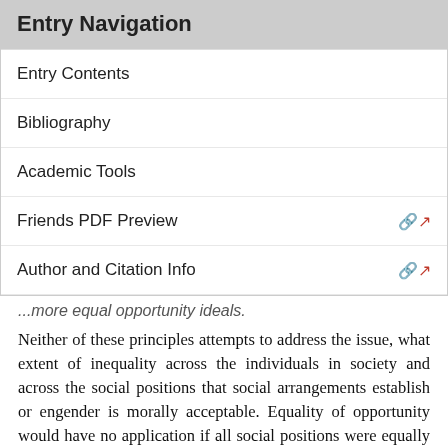Entry Navigation
Entry Contents
Bibliography
Academic Tools
Friends PDF Preview
Author and Citation Info
...more equal opportunity ideals.
Neither of these principles attempts to address the issue, what extent of inequality across the individuals in society and across the social positions that social arrangements establish or engender is morally acceptable. Equality of opportunity would have no application if all social positions were equally advantageous and desirable. But equality of opportunity does not say whether the gap between the top rung of society and the bottom rung should be large or small. Equality of opportunity principles assert that if there is to be inequality in the